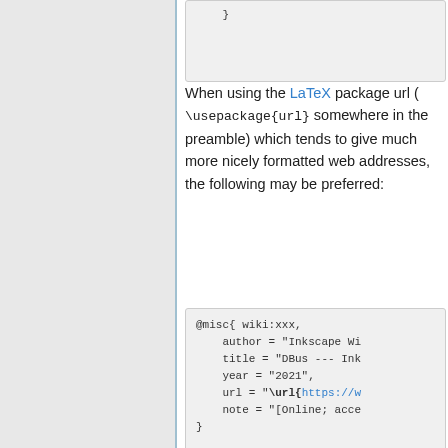}
}
When using the LaTeX package url ( \usepackage{url} somewhere in the preamble) which tends to give much more nicely formatted web addresses, the following may be preferred:
@misc{ wiki:xxx,
    author = "Inkscape Wi
    title = "DBus --- Ink
    year = "2021",
    url = "\url{https://w
    note = "[Online; acce
}